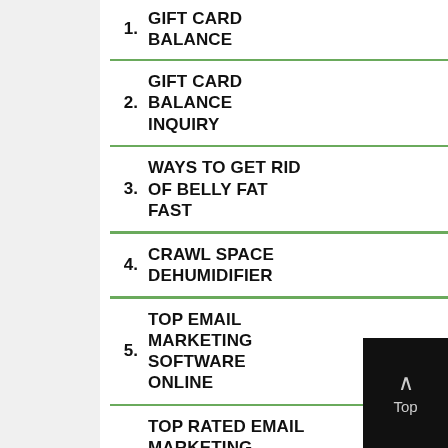1. GIFT CARD BALANCE
2. GIFT CARD BALANCE INQUIRY
3. WAYS TO GET RID OF BELLY FAT FAST
4. CRAWL SPACE DEHUMIDIFIER
5. TOP EMAIL MARKETING SOFTWARE ONLINE
6. TOP RATED EMAIL MARKETING SOFTWARE SYSTEM